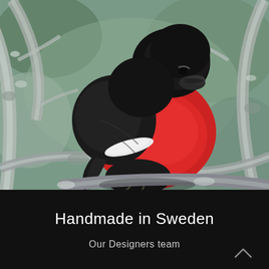[Figure (photo): A vibrant male Eurasian bullfinch with brilliant red breast and black head perched on frost-covered branches with blurred wintry background of grey branches and pale greenish bokeh.]
Handmade in Sweden
Our Designers team